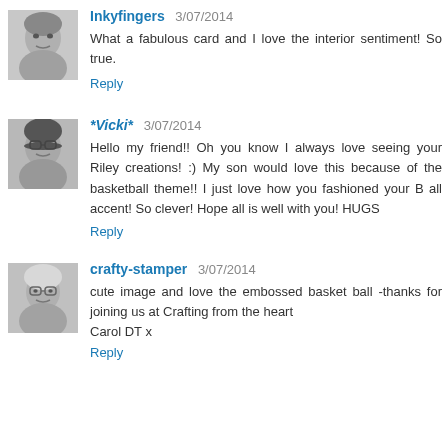[Figure (photo): Avatar photo of Inkyfingers - grayscale portrait of a woman]
Inkyfingers 3/07/2014
What a fabulous card and I love the interior sentiment! So true.
Reply
[Figure (photo): Avatar photo of *Vicki* - grayscale portrait of a woman with glasses]
*Vicki* 3/07/2014
Hello my friend!! Oh you know I always love seeing your Riley creations! :) My son would love this because of the basketball theme!! I just love how you fashioned your B all accent! So clever! Hope all is well with you! HUGS
Reply
[Figure (photo): Avatar photo of crafty-stamper - grayscale portrait of an older woman]
crafty-stamper 3/07/2014
cute image and love the embossed basket ball -thanks for joining us at Crafting from the heart
Carol DT x
Reply